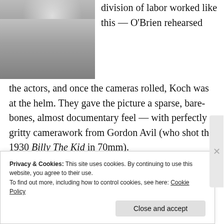[Figure (photo): Black and white photograph showing legs of a woman standing near a chair, from approximately the waist down.]
division of labor worked like this — O'Brien rehearsed the actors, and once the cameras rolled, Koch was at the helm. They gave the picture a sparse, bare-bones, almost documentary feel — with perfectly gritty camerawork from Gordon Avil (who shot the 1930 Billy The Kid in 70mm).
The performances are good across the board.
Privacy & Cookies: This site uses cookies. By continuing to use this website, you agree to their use.
To find out more, including how to control cookies, see here: Cookie Policy